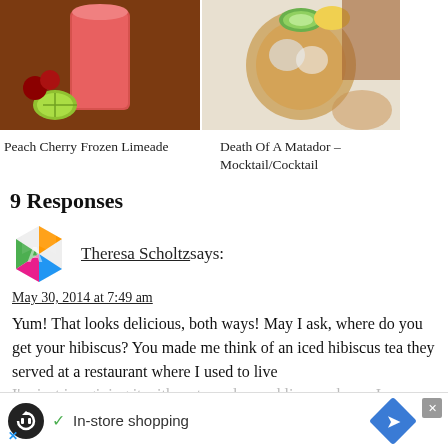[Figure (photo): Photo of a red frozen limeade drink in a tall glass with cherries and a lime slice on a wooden surface]
Peach Cherry Frozen Limeade
[Figure (photo): Photo of an iced tea mocktail/cocktail in a round glass with cucumber and lemon slices]
Death Of A Matador – Mocktail/Cocktail
9 Responses
[Figure (logo): Colorful geometric logo avatar for commenter Theresa Scholtz]
Theresa Scholtz says:
May 30, 2014 at 7:49 am
Yum! That looks delicious, both ways! May I ask, where do you get your hibiscus? You made me think of an iced hibiscus tea they served at a restaurant where I used to live I'm just imagining it with watermelon and lime and now I
READ
[Figure (infographic): Advertisement overlay: In-store shopping with loop icon and navigation arrow]